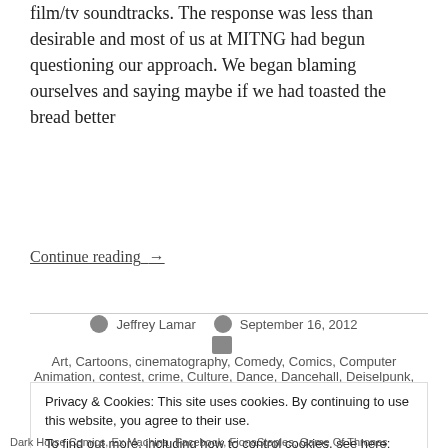film/tv soundtracks. The response was less than desirable and most of us at MITNG had begun questioning our approach. We began blaming ourselves and saying maybe if we had toasted the bread better
Continue reading  →
Post author Jeffrey Lamar  September 16, 2012  Art, Cartoons, cinematography, Comedy, Comics, Computer Animation, contest, crime, Culture, Dance, Dancehall, Deiselpunk, documentary,
Privacy & Cookies: This site uses cookies. By continuing to use this website, you agree to their use.
To find out more, including how to control cookies, see here:
Cookie Policy
Close and accept
Dark Horse Comics, Ex Machina, Facebook, FionaStaples, Game Of Thrones